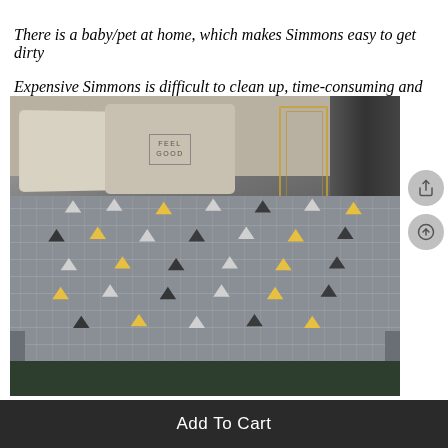There is a baby/pet at home, which makes Simmons easy to get dirty
Expensive Simmons is difficult to clean up, time-consuming and laborious
[Figure (photo): A gray quilted mattress protector/pad with white, yellow, and black triangle patterns on a bed, with white pillows including one with 'FEEL GOOD' text, dark curtains in background, and a gold wire decor item on the right.]
Add To Cart